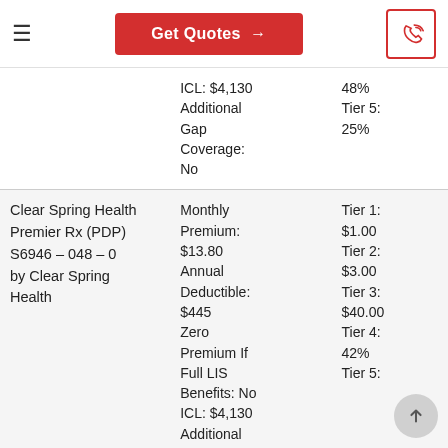Get Quotes →
| Plan Name | Plan Details | Drug Tiers |
| --- | --- | --- |
|  | ICL: $4,130
Additional Gap Coverage: No | 48%
Tier 5: 25% |
| Clear Spring Health Premier Rx (PDP) S6946 – 048 – 0 by Clear Spring Health | Monthly Premium: $13.80
Annual Deductible: $445
Zero Premium If Full LIS Benefits: No
ICL: $4,130
Additional | Tier 1: $1.00
Tier 2: $3.00
Tier 3: $40.00
Tier 4: 42%
Tier 5: |